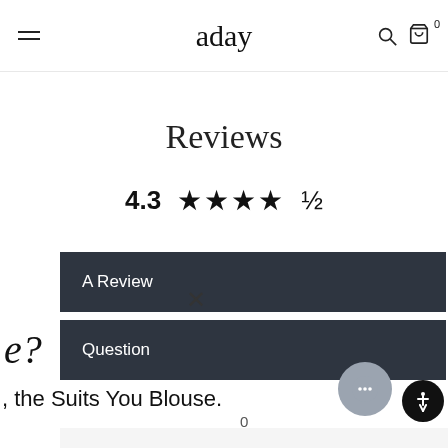aday — navigation header with hamburger menu, logo, search and bag icons
Reviews
4.3 ★★★★½
A Review
Question
e?
, the Suits You Blouse.